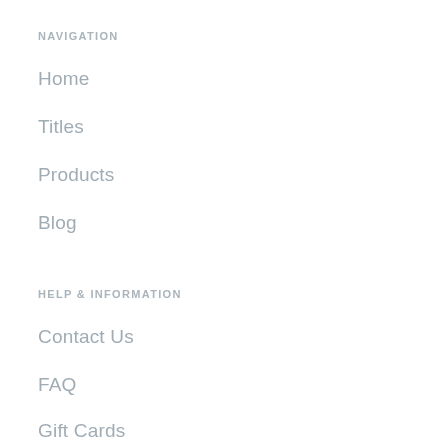NAVIGATION
Home
Titles
Products
Blog
HELP & INFORMATION
Contact Us
FAQ
Gift Cards
SUBSCRIBE TO OUR NEWSLETTER